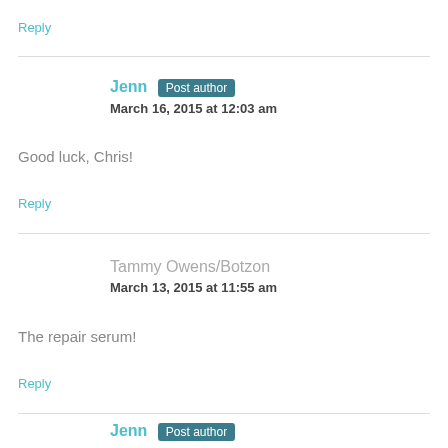Reply
Jenn Post author
March 16, 2015 at 12:03 am
Good luck, Chris!
Reply
Tammy Owens/Botzon
March 13, 2015 at 11:55 am
The repair serum!
Reply
Jenn Post author